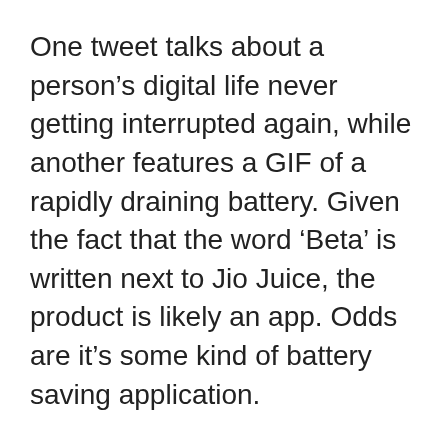One tweet talks about a person’s digital life never getting interrupted again, while another features a GIF of a rapidly draining battery. Given the fact that the word ‘Beta’ is written next to Jio Juice, the product is likely an app. Odds are it’s some kind of battery saving application.
We’ll find out more details soon enough, as Reliance Jio say it’s coming soon. Meanwhile, scores of users are trying to get an answer to the question